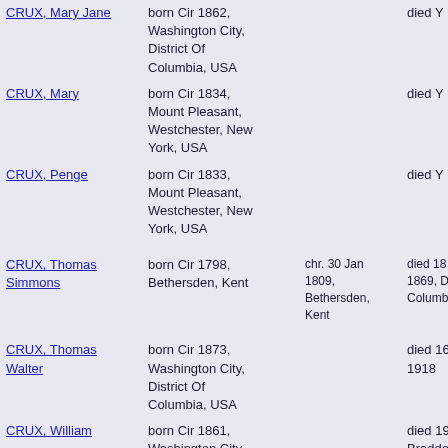| Name | Born | Christened | Died |
| --- | --- | --- | --- |
| CRUX, Mary Jane | born Cir 1862, Washington City, District Of Columbia, USA |  | died Y |
| CRUX, Mary | born Cir 1834, Mount Pleasant, Westchester, New York, USA |  | died Y |
| CRUX, Penge | born Cir 1833, Mount Pleasant, Westchester, New York, USA |  | died Y |
| CRUX, Thomas Simmons | born Cir 1798, Bethersden, Kent | chr. 30 Jan 1809, Bethersden, Kent | died 18 Apr 1869, District of Columbia, U... |
| CRUX, Thomas Walter | born Cir 1873, Washington City, District Of Columbia, USA |  | died 16 Nov 1918 |
| CRUX, William | born Cir 1861, Washington City, |  | died 1943, Braddock, |